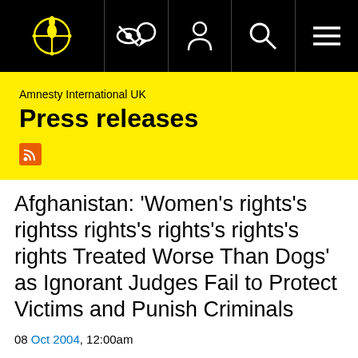[Figure (logo): Amnesty International logo — candle with barbed wire in yellow on black background, with navigation icons]
Amnesty International UK
Press releases
Afghanistan: 'Women's rights's rightss rights's rights's rights's rights Treated Worse Than Dogs' as Ignorant Judges Fail to Protect Victims and Punish Criminals
08 Oct 2004, 12:00am